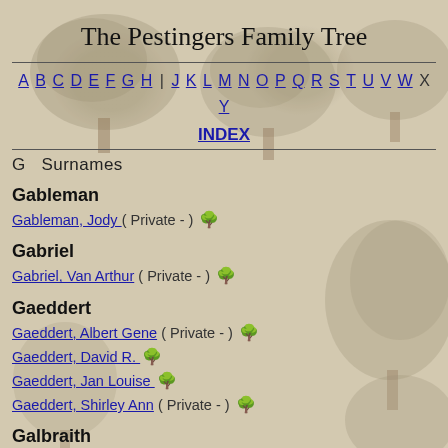The Pestingers Family Tree
A B C D E F G H | J K L M N O P Q R S T U V W X Y
INDEX
G  Surnames
Gableman
Gableman, Jody  (  Private - ) 🌳
Gabriel
Gabriel, Van Arthur ( Private - ) 🌳
Gaeddert
Gaeddert, Albert Gene (  Private - ) 🌳
Gaeddert, David R.  🌳
Gaeddert, Jan Louise  🌳
Gaeddert, Shirley Ann (  Private - ) 🌳
Galbraith
Galbraith, Kelly Lynn (  Private - ) 🌳
Galbraith, Neil David (  Private - ) 🌳